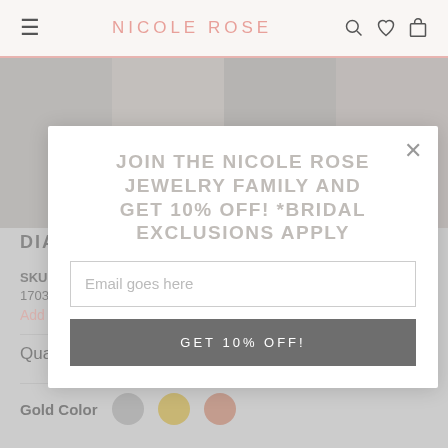NICOLE ROSE
JOIN THE NICOLE ROSE JEWELRY FAMILY AND GET 10% OFF! *BRIDAL EXCLUSIONS APPLY
DIAMOND DROP EARRINGS
SKU:
17036
Add to Wishlist
Email goes here
GET 10% OFF!
Quantity
- 1 +
Gold Color